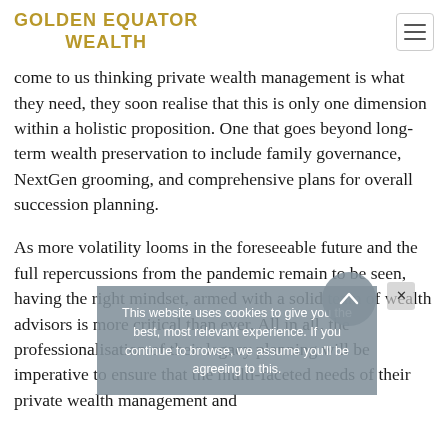GOLDEN EQUATOR WEALTH
come to us thinking private wealth management is what they need, they soon realise that this is only one dimension within a holistic proposition. One that goes beyond long-term wealth preservation to include family governance, NextGen grooming, and comprehensive plans for overall succession planning.
As more volatility looms in the foreseeable future and the full repercussions from the pandemic remain to be seen, having the right mindset, armed with a solid team of wealth advisors is more critical than ever. All in all, the professionalisation of their legacy planning will be imperative to ensure that the multi-faceted needs of their private wealth management and
This website uses cookies to give you the best, most relevant experience. If you continue to browse, we assume you'll be agreeing to this.